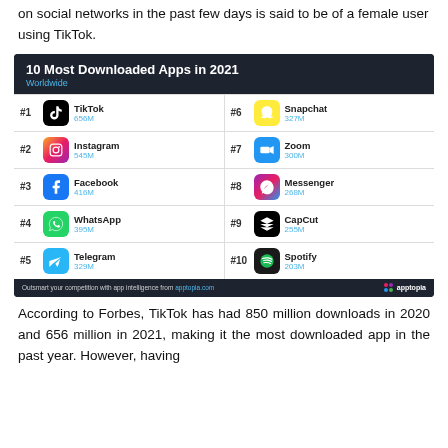on social networks in the past few days is said to be of a female user using TikTok.
[Figure (table-as-image): Infographic showing the 10 most downloaded apps worldwide in 2021 with rankings and download counts: #1 TikTok 656M, #2 Instagram 545M, #3 Facebook 416M, #4 WhatsApp 395M, #5 Telegram 329M, #6 Snapchat 327M, #7 Zoom 300M, #8 Messenger 268M, #9 CapCut 255M, #10 Spotify 203M. Source: apptopia.com]
According to Forbes, TikTok has had 850 million downloads in 2020 and 656 million in 2021, making it the most downloaded app in the past year. However, having